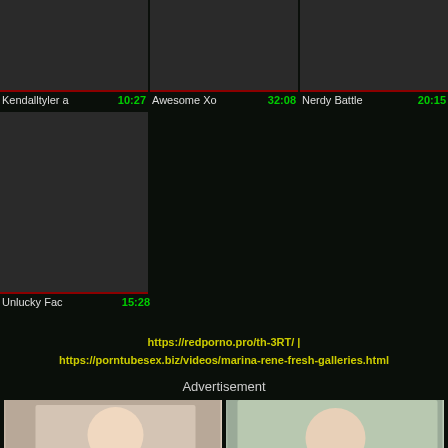[Figure (screenshot): Row of three video thumbnails with dark backgrounds]
Kendalltyler a  10:27    Awesome Xo  32:08    Nerdy Battle  20:15
[Figure (screenshot): Single video thumbnail with dark background]
Unlucky Fac  15:28
https://redporno.pro/th-3RT/ | https://porntubesex.biz/videos/marina-rene-fresh-galleries.html
Advertisement
[Figure (photo): Two advertisement photos side by side]